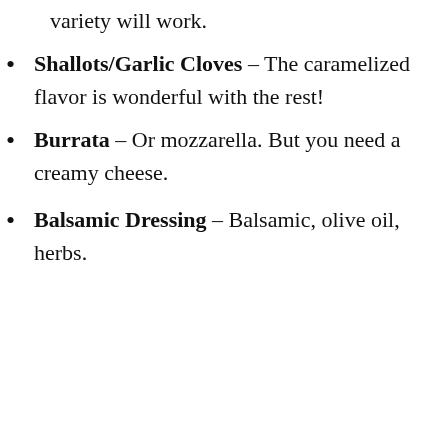variety will work.
Shallots/Garlic Cloves – The caramelized flavor is wonderful with the rest!
Burrata – Or mozzarella. But you need a creamy cheese.
Balsamic Dressing – Balsamic, olive oil, herbs.